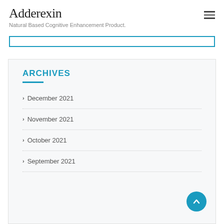Adderexin
Natural Based Cognitive Enhancement Product.
ARCHIVES
December 2021
November 2021
October 2021
September 2021